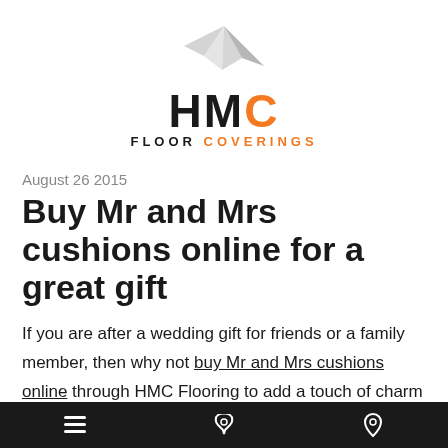[Figure (logo): HMC Floor Coverings logo with paper airplane graphic above stylized HMC text where C is orange, and 'FLOOR COVERINGS' subtitle with COVERINGS in orange]
August 26 2015
Buy Mr and Mrs cushions online for a great gift
If you are after a wedding gift for friends or a family member, then why not buy Mr and Mrs cushions online through HMC Flooring to add a touch of charm and fun to their home.